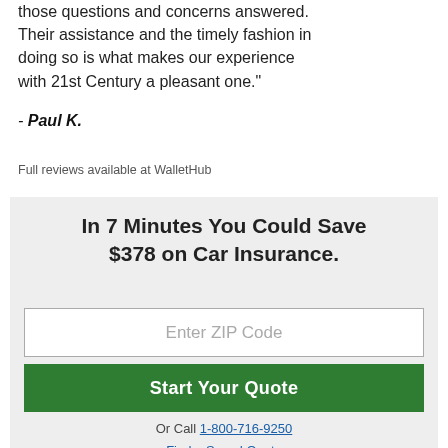those questions and concerns answered. Their assistance and the timely fashion in doing so is what makes our experience with 21st Century a pleasant one."
- Paul K.
Full reviews available at WalletHub
In 7 Minutes You Could Save $378 on Car Insurance.
Enter ZIP Code
Start Your Quote
Or Call 1-800-716-9250
Find a Saved Quote